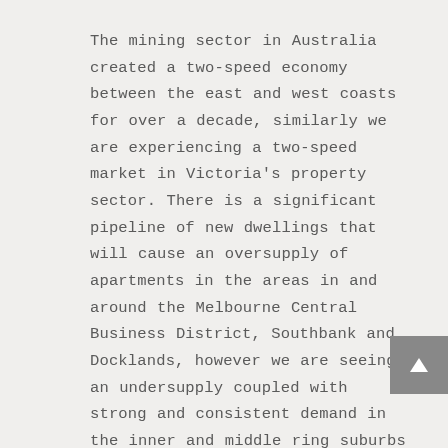The mining sector in Australia created a two-speed economy between the east and west coasts for over a decade, similarly we are experiencing a two-speed market in Victoria's property sector. There is a significant pipeline of new dwellings that will cause an oversupply of apartments in the areas in and around the Melbourne Central Business District, Southbank and Docklands, however we are seeing an undersupply coupled with strong and consistent demand in the inner and middle ring suburbs 5km-20km from Melbourne CBD. Inner Melbourne has approximately 13,675 apartments currently under construction with an additional 10,349 apartments currently marketed and are expected to complete over 2016-2020(1). Dwelling growth in the middle-ring suburbs – those in a 10-20km band from the CBD not great enough to meet the demand for suburban downsizers and investors due to planning restrictions.